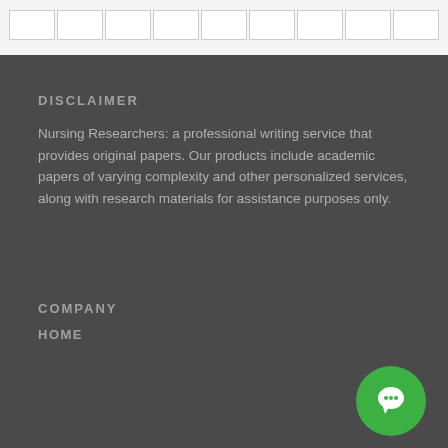|   |   |   |   |   |   |   |   |   |
DISCLAIMER
Nursing Researchers: a professional writing service that provides original papers. Our products include academic papers of varying complexity and other personalized services, along with research materials for assistance purposes only.
COMPANY
HOME